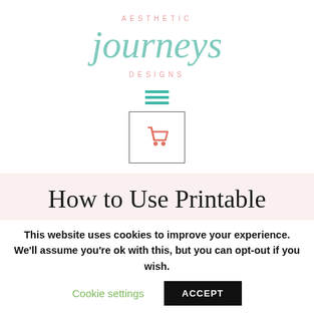[Figure (logo): Aesthetic Journeys Designs logo with script text in teal and pink lettering]
[Figure (other): Hamburger menu icon with three teal horizontal lines]
[Figure (other): Shopping cart icon in coral/salmon color inside a square border box]
How to Use Printable
This website uses cookies to improve your experience. We'll assume you're ok with this, but you can opt-out if you wish.
Cookie settings
ACCEPT